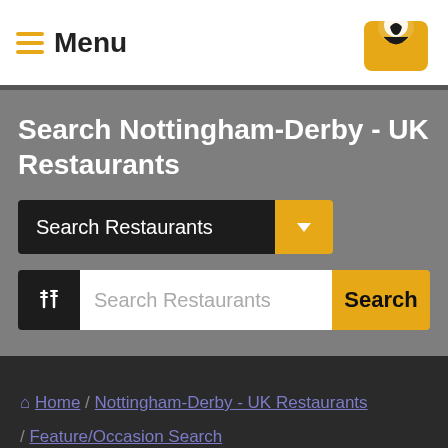Menu
Search Nottingham-Derby - UK Restaurants
Search Restaurants (dropdown)
Search Restaurants (search input) Search
Home / Nottingham-Derby - UK Restaurants / Feature/Occasion Search / Special Occasion Restaurants